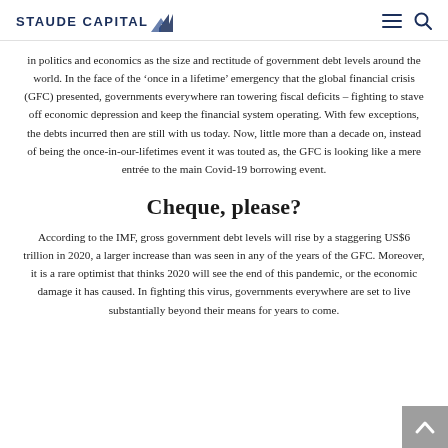Staude Capital
in politics and economics as the size and rectitude of government debt levels around the world. In the face of the ‘once in a lifetime’ emergency that the global financial crisis (GFC) presented, governments everywhere ran towering fiscal deficits – fighting to stave off economic depression and keep the financial system operating. With few exceptions, the debts incurred then are still with us today. Now, little more than a decade on, instead of being the once-in-our-lifetimes event it was touted as, the GFC is looking like a mere entrée to the main Covid-19 borrowing event.
Cheque, please?
According to the IMF, gross government debt levels will rise by a staggering US$6 trillion in 2020, a larger increase than was seen in any of the years of the GFC. Moreover, it is a rare optimist that thinks 2020 will see the end of this pandemic, or the economic damage it has caused. In fighting this virus, governments everywhere are set to live substantially beyond their means for years to come.